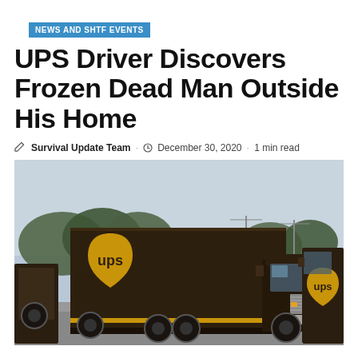NEWS AND SHTF EVENTS
UPS Driver Discovers Frozen Dead Man Outside His Home
Survival Update Team · December 30, 2020 · 1 min read
[Figure (photo): Multiple brown UPS delivery trucks parked in a lot, with trees and utility poles visible in the background. The large truck in the center prominently displays the UPS shield logo in gold on its trailer.]